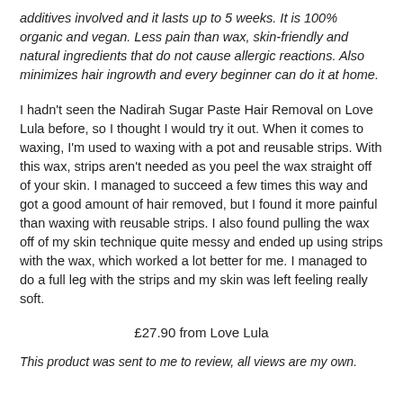additives involved and it lasts up to 5 weeks. It is 100% organic and vegan. Less pain than wax, skin-friendly and natural ingredients that do not cause allergic reactions. Also minimizes hair ingrowth and every beginner can do it at home.
I hadn't seen the Nadirah Sugar Paste Hair Removal on Love Lula before, so I thought I would try it out. When it comes to waxing, I'm used to waxing with a pot and reusable strips. With this wax, strips aren't needed as you peel the wax straight off of your skin. I managed to succeed a few times this way and got a good amount of hair removed, but I found it more painful than waxing with reusable strips. I also found pulling the wax off of my skin technique quite messy and ended up using strips with the wax, which worked a lot better for me. I managed to do a full leg with the strips and my skin was left feeling really soft.
£27.90 from Love Lula
This product was sent to me to review, all views are my own.